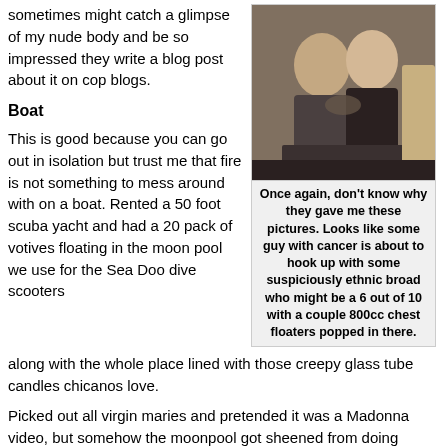sometimes might catch a glimpse of my nude body and be so impressed they write a blog post about it on cop blogs.
[Figure (photo): A photo of a man and a woman sitting together in close proximity, appearing to be in a vehicle or enclosed space.]
Once again, don't know why they gave me these pictures. Looks like some guy with cancer is about to hook up with some suspiciously ethnic broad who might be a 6 out of 10 with a couple 800cc chest floaters popped in there.
Boat
This is good because you can go out in isolation but trust me that fire is not something to mess around with on a boat. Rented a 50 foot scuba yacht and had a 20 pack of votives floating in the moon pool we use for the Sea Doo dive scooters along with the whole place lined with those creepy glass tube candles chicanos love.
Picked out all virgin maries and pretended it was a Madonna video, but somehow the moonpool got sheened from doing donuts with the sea doo when I was drunk (way earlier) and ended up starting a fire in the moonpool. Had to call the coast guard but because it was technically under the boat/inside the boat all they could do was bring us over and put blankets on us while we waited for the fire to go out,